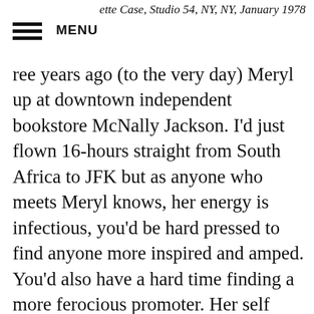ette Case, Studio 54, NY, NY, January 1978
MENU
ree years ago (to the very day) Meryl up at downtown independent bookstore McNally Jackson. I'd just flown 16-hours straight from South Africa to JFK but as anyone who meets Meryl knows, her energy is infectious, you'd be hard pressed to find anyone more inspired and amped. You'd also have a hard time finding a more ferocious promoter. Her self described 'guerrilla approach' to book marketing could teach the industry pros a thing or two about keeping a book in the news (and selling) no matter the pub date or the publisher (Bizarre Bushwick, a bar and avant-garde performance venue/gallery